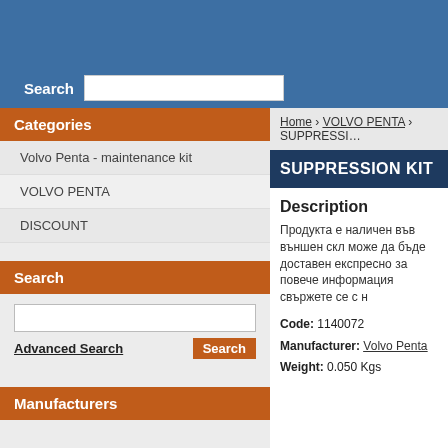Search [input field]
Categories
Volvo Penta - maintenance kit
VOLVO PENTA
DISCOUNT
Search
Advanced Search   Search
Manufacturers
Home › VOLVO PENTA › SUPPRESSION KIT
SUPPRESSION KIT
Description
Продукта е наличен във външен скл може да бъде доставен експресно за повече информация свържете се с н
Code: 1140072
Manufacturer: Volvo Penta
Weight: 0.050 Kgs